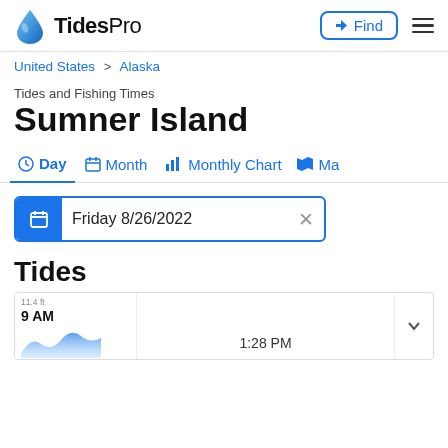TidesPro  Find
United States > Alaska
Tides and Fishing Times
Sumner Island
Day  Month  Monthly Chart  Ma
Friday 8/26/2022
Tides
9 AM  1:28 PM